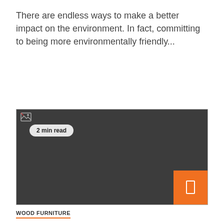There are endless ways to make a better impact on the environment. In fact, committing to being more environmentally friendly...
[Figure (photo): Dark grey placeholder image with a broken image icon in the top-left, a '2 min read' badge overlay, and an orange bookmark/save button in the bottom-right corner.]
WOOD FURNITURE